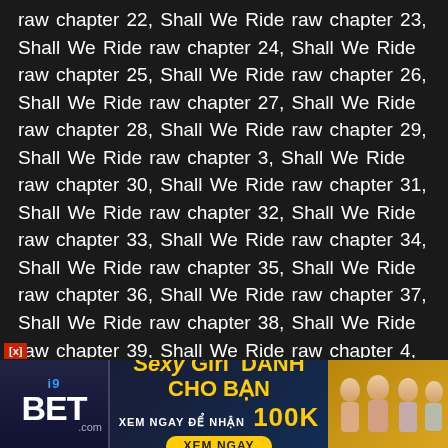raw chapter 22, Shall We Ride raw chapter 23, Shall We Ride raw chapter 24, Shall We Ride raw chapter 25, Shall We Ride raw chapter 26, Shall We Ride raw chapter 27, Shall We Ride raw chapter 28, Shall We Ride raw chapter 29, Shall We Ride raw chapter 3, Shall We Ride raw chapter 30, Shall We Ride raw chapter 31, Shall We Ride raw chapter 32, Shall We Ride raw chapter 33, Shall We Ride raw chapter 34, Shall We Ride raw chapter 35, Shall We Ride raw chapter 36, Shall We Ride raw chapter 37, Shall We Ride raw chapter 38, Shall We Ride raw chapter 39, Shall We Ride raw chapter 4, Shall We Ride raw chapter 40, Shall We Ride raw chapter 41, Shall We Ride raw chapter 42, Shall We Ride raw chapter 43, Shall We Ride raw chapter 44, Shall We Ride raw chapter 45, Shall We Ride raw chapter 46, Shall We Ride raw chapter 47, Shall We Ride raw chapter 48, Shall We Ride raw chapter 49, Shall We Ride raw chapter 5, Shall We Ride raw chapter 50, Shall We Ride raw chapter 51, Shall We Ride raw chapter 52, Shall We Ride raw chapter 53, Shall We Ride raw chapter 54, Shall We Ride raw chapter 55, Shall We Ride raw chapter 56, Shall We Ride
[Figure (infographic): Advertisement banner for i9BET.com with text 'Sexy Girl DÀNH CHO BẠN XEM NGAY ĐỂ NHẬN 100K XEM NGAY' and images of women]